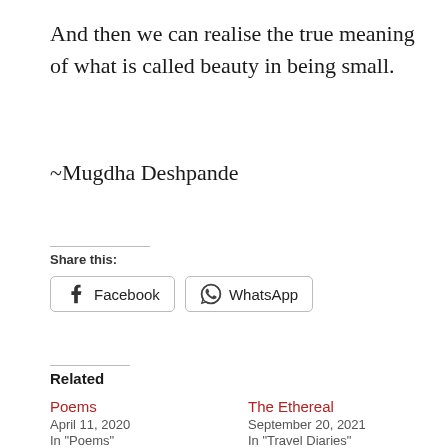And then we can realise the true meaning of what is called beauty in being small.
~Mugdha Deshpande
Share this:
Facebook   WhatsApp
Related
Poems
April 11, 2020
In "Poems"
The Ethereal
September 20, 2021
In "Travel Diaries"